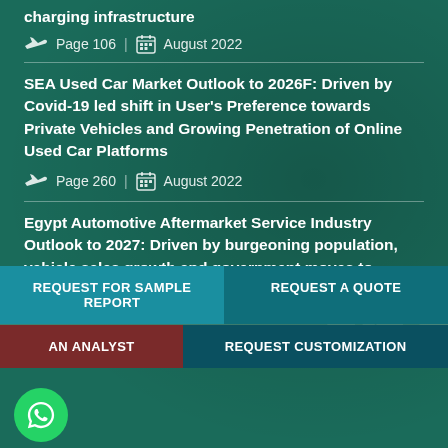charging infrastructure
Page 106 | August 2022
SEA Used Car Market Outlook to 2026F: Driven by Covid-19 led shift in User's Preference towards Private Vehicles and Growing Penetration of Online Used Car Platforms
Page 260 | August 2022
Egypt Automotive Aftermarket Service Industry Outlook to 2027: Driven by burgeoning population, vehicle sales growth and government moves to
Page 80 | August 2022
REQUEST FOR SAMPLE REPORT
REQUEST A QUOTE
AN ANALYST
REQUEST CUSTOMIZATION